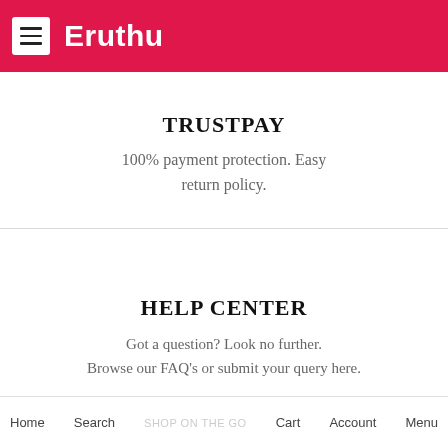Eruthu
TRUSTPAY
100% payment protection. Easy return policy.
HELP CENTER
Got a question? Look no further. Browse our FAQ's or submit your query here.
[Figure (illustration): Mobile phone icon with a screen showing a small rectangle at top]
Home  Search  SHOP ON THE GO  Cart  Account  Menu